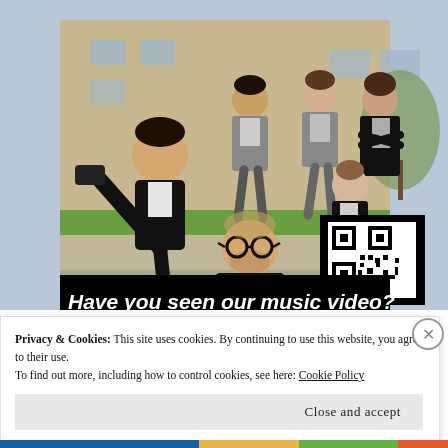[Figure (photo): Group of young people in formal/smart-casual attire posing playfully outside a building. One person is doing a dramatic pose with leg raised, others are standing or crouching. A QR code is visible in the bottom-right corner of the photo. Black banner at bottom reads 'Have you seen our music video?']
Privacy & Cookies: This site uses cookies. By continuing to use this website, you agree to their use.
To find out more, including how to control cookies, see here: Cookie Policy
Close and accept